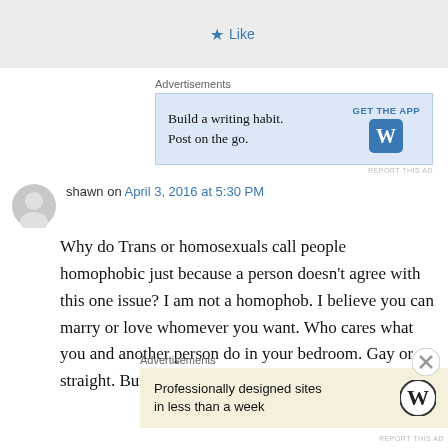[Figure (screenshot): Like button with blue star icon]
Advertisements
[Figure (screenshot): Advertisement: Build a writing habit. Post on the go. GET THE APP with WordPress logo]
REPORT THIS AD
shawn on April 3, 2016 at 5:30 PM
Why do Trans or homosexuals call people homophobic just because a person doesn't agree with this one issue? I am not a homophob. I believe you can marry or love whomever you want. Who cares what you and another person do in your bedroom. Gay or straight. But I do fee
Advertisements
[Figure (screenshot): Advertisement: Professionally designed sites in less than a week with WordPress logo]
REPORT THIS AD